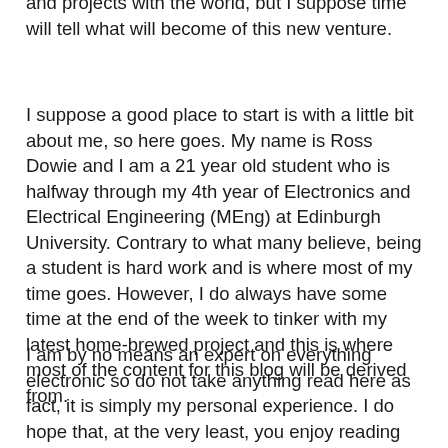and projects with the world, but I suppose time will tell what will become of this new venture.
I suppose a good place to start is with a little bit about me, so here goes. My name is Ross Dowie and I am a 21 year old student who is halfway through my 4th year of Electronics and Electrical Engineering (MEng) at Edinburgh University. Contrary to what many believe, being a student is hard work and is where most of my time goes. However, I do always have some time at the end of the week to tinker with my latest home-brewed project and this is where most of the content for this blog will be derived from.
I am by no means an expert on everything electronic so do not take anything read here as fact, it is simply my personal experience. I do hope that, at the very least, you enjoy reading this blog. Feel free to ask questions and offer advice – we both might learn something along